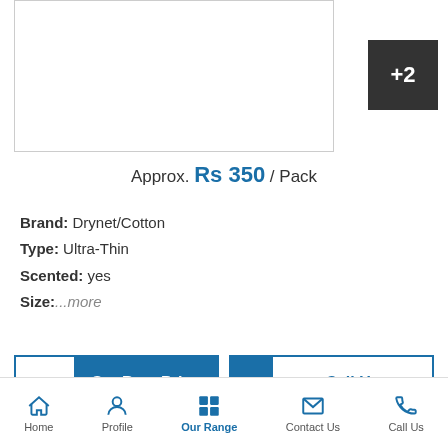[Figure (photo): Product image placeholder with white background and border]
[Figure (other): Dark grey box showing +2 indicating 2 more product images]
Approx. Rs 350 / Pack
Brand: Drynet/Cotton
Type: Ultra-Thin
Scented: yes
Size:...more
Get Best Price
Call Us
Ladies White Sanitary Pad
Approx. Rs 2 40 / Piece
Home  Profile  Our Range  Contact Us  Call Us